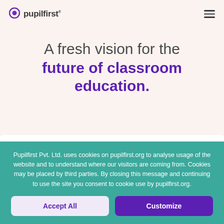pupilfirst
A fresh vision for the future of classroom education.
Pupilfirst Pvt. Ltd. uses cookies on pupilfirst.org to analyse usage of the website and to understand where our visitors are coming from. Cookies may be placed by third parties. By closing this message and continuing to use the site you consent to cookie use by pupilfirst.org.